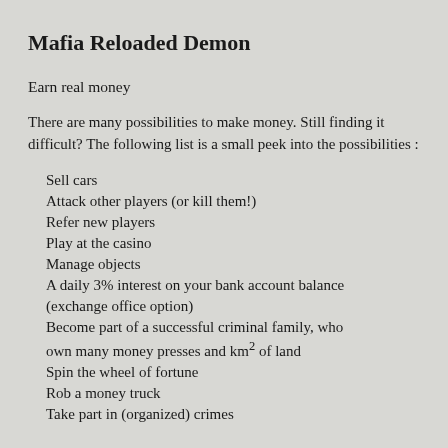Mafia Reloaded Demon
Earn real money
There are many possibilities to make money. Still finding it difficult? The following list is a small peek into the possibilities :
Sell cars
Attack other players (or kill them!)
Refer new players
Play at the casino
Manage objects
A daily 3% interest on your bank account balance (exchange office option)
Become part of a successful criminal family, who own many money presses and km² of land
Spin the wheel of fortune
Rob a money truck
Take part in (organized) crimes